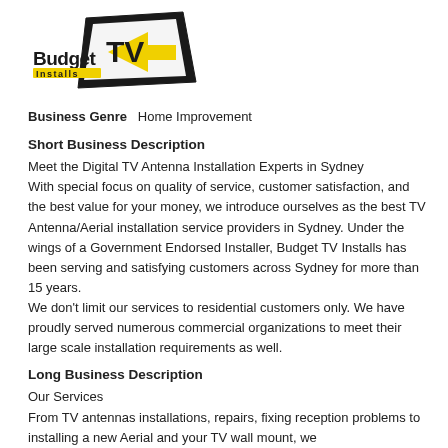[Figure (logo): Budget TV Installs logo — stylized TV screen shape in black with yellow arrow, text 'Budget TV Installs' where 'TV' is large and prominent]
Business Genre   Home Improvement
Short Business Description
Meet the Digital TV Antenna Installation Experts in Sydney
With special focus on quality of service, customer satisfaction, and the best value for your money, we introduce ourselves as the best TV Antenna/Aerial installation service providers in Sydney. Under the wings of a Government Endorsed Installer, Budget TV Installs has been serving and satisfying customers across Sydney for more than 15 years.
We don't limit our services to residential customers only. We have proudly served numerous commercial organizations to meet their large scale installation requirements as well.
Long Business Description
Our Services
From TV antennas installations, repairs, fixing reception problems to installing a new Aerial and your TV wall mount, we